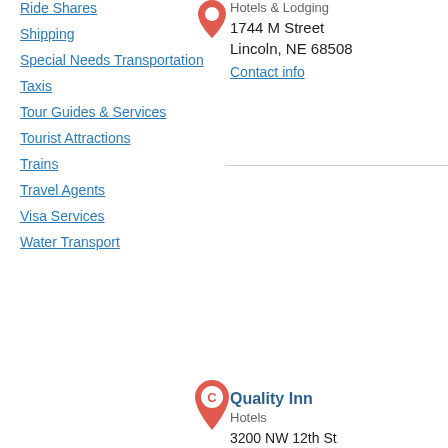Ride Shares
Shipping
Special Needs Transportation
Taxis
Tour Guides & Services
Tourist Attractions
Trains
Travel Agents
Visa Services
Water Transport
Hotels & Lodging
1744 M Street
Lincoln, NE 68508
Contact info
Quality Inn
Hotels
3200 NW 12th St
Lincoln, NE 68521